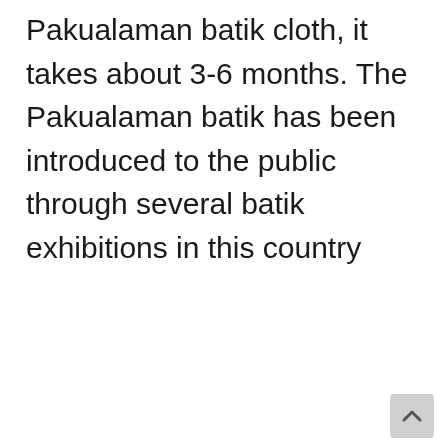Pakualaman batik cloth, it takes about 3-6 months. The Pakualaman batik has been introduced to the public through several batik exhibitions in this country